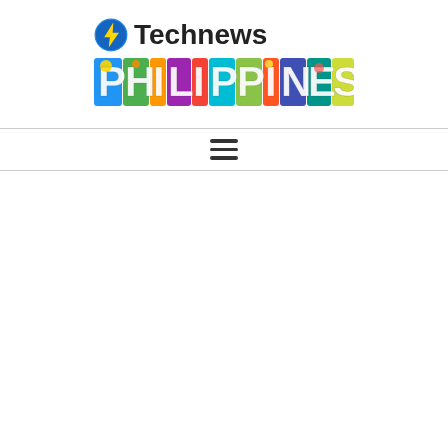[Figure (logo): Technews Philippines logo: a blue lightning bolt icon followed by 'Technews' in bold black text, above a colorful illustrated 'PHILIPPINES' banner text with scenic imagery embedded in each letter]
[Figure (other): Hamburger menu icon (three horizontal dark lines) centered in a navigation bar with top and bottom border lines]